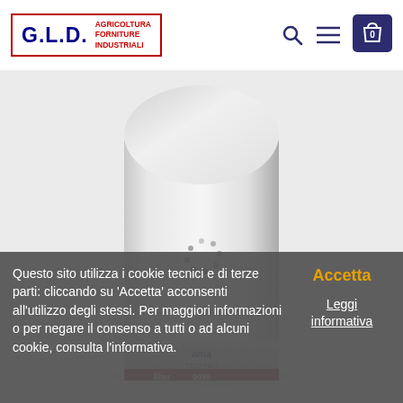G.L.D. AGRICOLTURA FORNITURE INDUSTRIALI
[Figure (photo): White cylindrical oil filter product photo with loading spinner overlay, partially showing brand label 'ama TECHNIC filter 0039 = Filtre à huile' at the bottom]
Questo sito utilizza i cookie tecnici e di terze parti: cliccando su 'Accetta' acconsenti all'utilizzo degli stessi. Per maggiori informazioni o per negare il consenso a tutti o ad alcuni cookie, consulta l'informativa.
Accetta
Leggi informativa